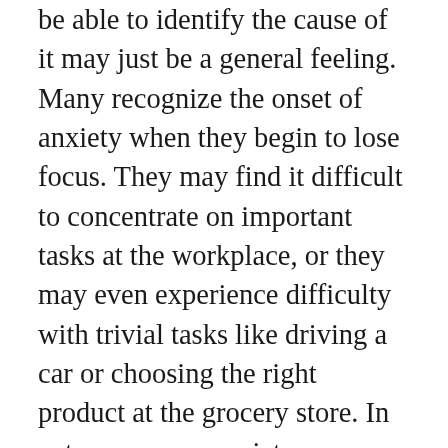be able to identify the cause of it may just be a general feeling. Many recognize the onset of anxiety when they begin to lose focus. They may find it difficult to concentrate on important tasks at the workplace, or they may even experience difficulty with trivial tasks like driving a car or choosing the right product at the grocery store. In extreme cases, anxiety manifests as a form of hopelessness, as if there were an approaching doom. Victims often feel there is nothing they can do to protect themselves.